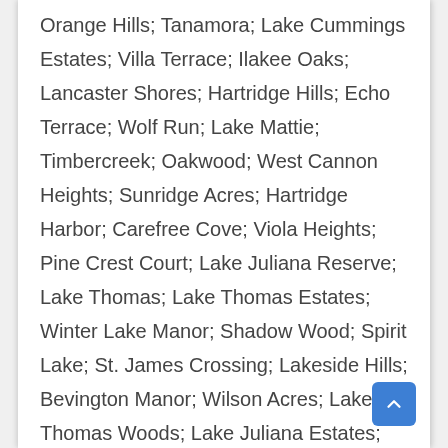Orange Hills; Tanamora; Lake Cummings Estates; Villa Terrace; Ilakee Oaks; Lancaster Shores; Hartridge Hills; Echo Terrace; Wolf Run; Lake Mattie; Timbercreek; Oakwood; West Cannon Heights; Sunridge Acres; Hartridge Harbor; Carefree Cove; Viola Heights; Pine Crest Court; Lake Juliana Reserve; Lake Thomas; Lake Thomas Estates; Winter Lake Manor; Shadow Wood; Spirit Lake; St. James Crossing; Lakeside Hills; Bevington Manor; Wilson Acres; Lake Thomas Woods; Lake Juliana Estates; Villages at Bridgewater; Haven Shores; Kenilworth Park; Howard Cannon Park; West Cannon Terrace; Orangewood Heights; Van Duyne Shores; Westwood; The Village at Lakeland; Marker Acres; Rochelle Terrace; Char-Mil; The Lakes; The Shores; Stately Oaks; Rosewood Manor; Country Walk; Hidden Creek; Aldoro Park; Hartridge Manor; Villa Manor; Hartridge Landing; Lakeridge Estates; First Park at Bridgewater; Grey Fox Hollow; Cripple Creek